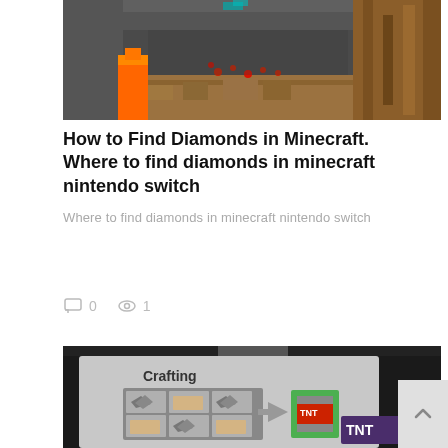[Figure (screenshot): Minecraft cave screenshot with lava, redstone ore, and brown mushroom blocks in a dark stone environment]
How to Find Diamonds in Minecraft. Where to find diamonds in minecraft nintendo switch
Where to find diamonds in minecraft nintendo switch
0  1
[Figure (screenshot): Minecraft crafting interface showing a crafting grid with gunpowder and sand blocks arranged to craft TNT, with a TNT label visible]